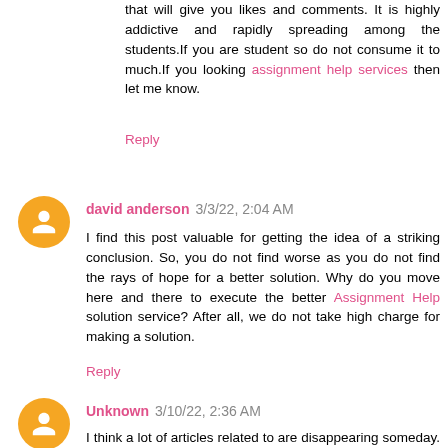that will give you likes and comments. It is highly addictive and rapidly spreading among the students.If you are student so do not consume it to much.If you looking assignment help services then let me know.
Reply
david anderson 3/3/22, 2:04 AM
I find this post valuable for getting the idea of a striking conclusion. So, you do not find worse as you do not find the rays of hope for a better solution. Why do you move here and there to execute the better Assignment Help solution service? After all, we do not take high charge for making a solution.
Reply
Unknown 3/10/22, 2:36 AM
I think a lot of articles related to are disappearing someday. That's why it's very hard to find, but I'm very fortunate to read your writing. When you come to my site, I have